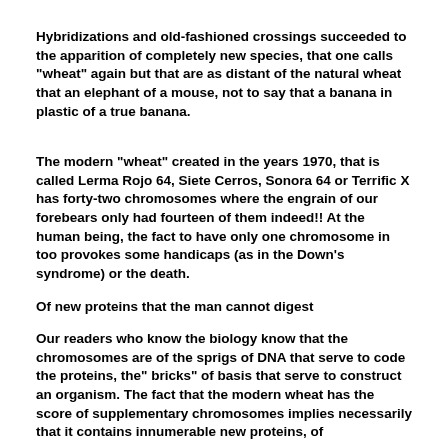Hybridizations and old-fashioned crossings succeeded to the apparition of completely new species, that one calls "wheat" again but that are as distant of the natural wheat that an elephant of a mouse, not to say that a banana in plastic of a true banana.
The modern "wheat" created in the years 1970, that is called Lerma Rojo 64, Siete Cerros, Sonora 64 or Terrific X has forty-two chromosomes where the engrain of our forebears only had fourteen of them indeed!! At the human being, the fact to have only one chromosome in too provokes some handicaps (as in the Down's syndrome) or the death.
Of new proteins that the man cannot digest
Our readers who know the biology know that the chromosomes are of the sprigs of DNA that serve to code the proteins, the" bricks" of basis that serve to construct an organism. The fact that the modern wheat has the score of supplementary chromosomes implies necessarily that it contains innumerable new proteins, of